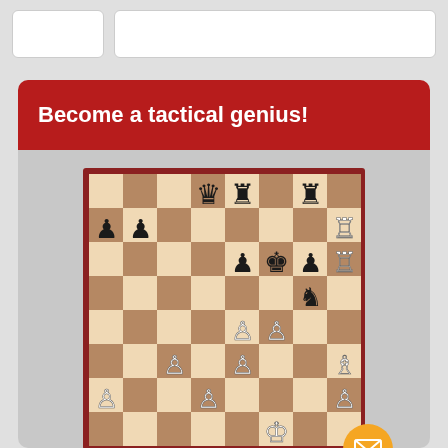[Figure (screenshot): Top navigation bar with search/input boxes on light gray background]
Become a tactical genius!
[Figure (other): Chess board diagram showing a tactical chess position with black queen, rooks on rank 8; black pawns on a7,b7,e6,g6; white rook on h7,h6; black king on f6; black knight on g5; white pawns on e4,f4,c3,e3,h3; white king on f2; orange email button overlay bottom right]